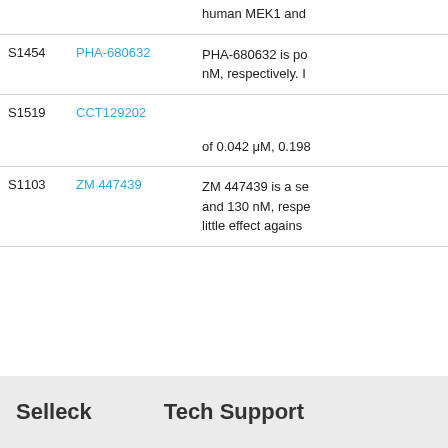| Cat No. | Product Name | Description |
| --- | --- | --- |
|  |  | human MEK1 and |
| S1454 | PHA-680632 | PHA-680632 is po
nM, respectively. I |
| S1519 | CCT129202 | Contact us
of 0.042 μM, 0.198 |
| S1103 | ZM 447439 | ZM 447439 is a se
and 130 nM, respe
little effect agains |
Contact us
Selleck
Tech Support